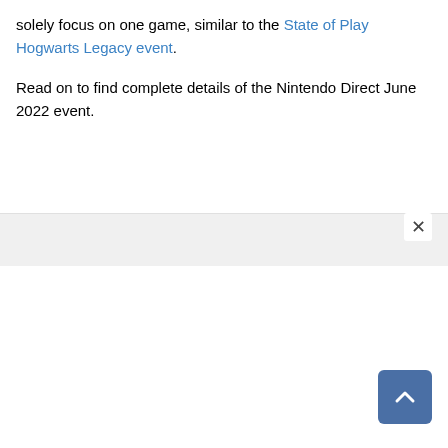solely focus on one game, similar to the State of Play Hogwarts Legacy event.
Read on to find complete details of the Nintendo Direct June 2022 event.